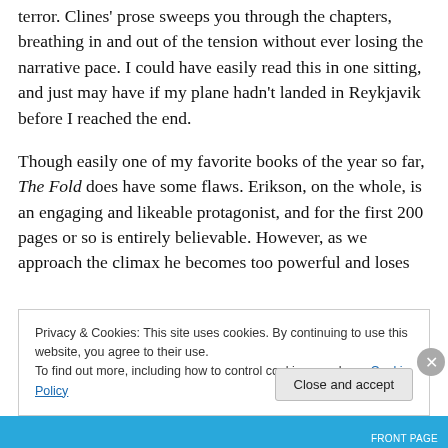terror. Clines' prose sweeps you through the chapters, breathing in and out of the tension without ever losing the narrative pace. I could have easily read this in one sitting, and just may have if my plane hadn't landed in Reykjavik before I reached the end.
Though easily one of my favorite books of the year so far, The Fold does have some flaws. Erikson, on the whole, is an engaging and likeable protagonist, and for the first 200 pages or so is entirely believable. However, as we approach the climax he becomes too powerful and loses
Privacy & Cookies: This site uses cookies. By continuing to use this website, you agree to their use.
To find out more, including how to control cookies, see here: Cookie Policy